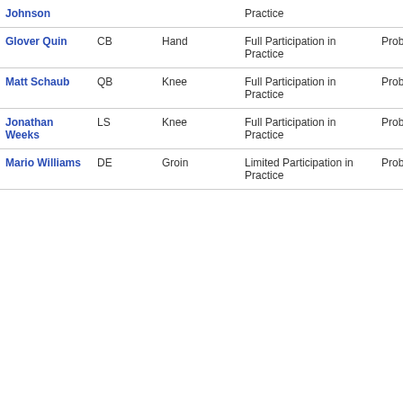| Player | Position | Injury | Practice Status | Game Status |
| --- | --- | --- | --- | --- |
| Johnson |  |  | Practice |  |
| Glover Quin | CB | Hand | Full Participation in Practice | Probable |
| Matt Schaub | QB | Knee | Full Participation in Practice | Probable |
| Jonathan Weeks | LS | Knee | Full Participation in Practice | Probable |
| Mario Williams | DE | Groin | Limited Participation in Practice | Probable |